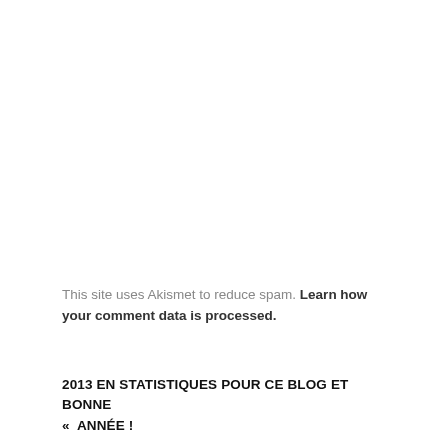This site uses Akismet to reduce spam. Learn how your comment data is processed.
2013 EN STATISTIQUES POUR CE BLOG ET BONNE «  ANNÉE !